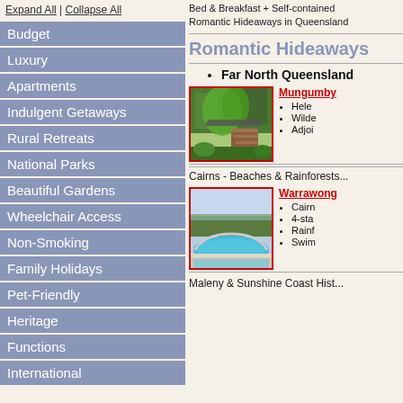Expand All | Collapse All
Budget
Luxury
Apartments
Indulgent Getaways
Rural Retreats
National Parks
Beautiful Gardens
Wheelchair Access
Non-Smoking
Family Holidays
Pet-Friendly
Heritage
Functions
International
Bed & Breakfast + Self-contained Romantic Hideaways in Queensland
Romantic Hideaways
Far North Queensland
[Figure (photo): Tropical rainforest property with wooden staircase and lush green plants]
Mungumby
Hele
Wilde
Adjoi
Cairns - Beaches & Rainforests...
[Figure (photo): Swimming pool with ocean and rainforest views]
Warrawong
Cairn
4-sta
Rainf
Swim
Maleny & Sunshine Coast Hist...